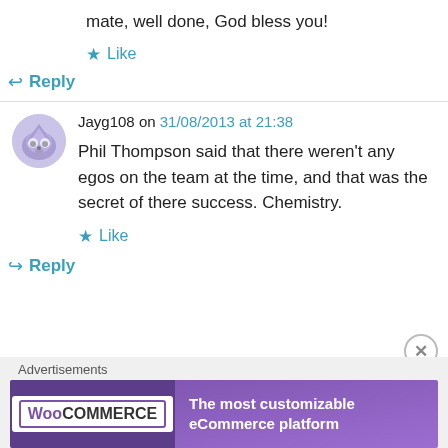mate, well done, God bless you!
★ Like
↪ Reply
Jayg108 on 31/08/2013 at 21:38
Phil Thompson said that there weren't any egos on the team at the time, and that was the secret of there success. Chemistry.
★ Like
↪ Reply
Advertisements
[Figure (other): WooCommerce advertisement banner: 'The most customizable eCommerce platform']